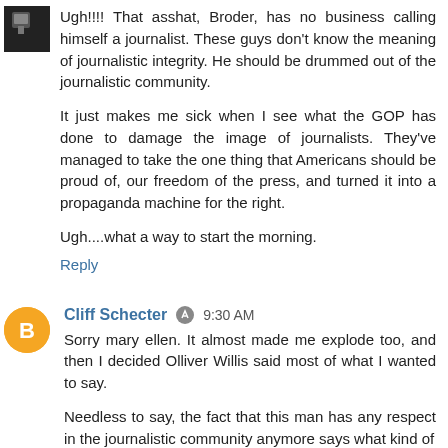Ugh!!!! That asshat, Broder, has no business calling himself a journalist. These guys don't know the meaning of journalistic integrity. He should be drummed out of the journalistic community.
It just makes me sick when I see what the GOP has done to damage the image of journalists. They've managed to take the one thing that Americans should be proud of, our freedom of the press, and turned it into a propaganda machine for the right.
Ugh....what a way to start the morning.
Reply
Cliff Schecter  9:30 AM
Sorry mary ellen. It almost made me explode too, and then I decided Olliver Willis said most of what I wanted to say.
Needless to say, the fact that this man has any respect in the journalistic community anymore says what kind of